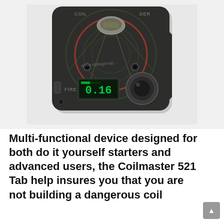[Figure (photo): Photo of a Coilmaster 521 Tab device, a dark-colored electronic coil building tool with a circular target-like design on top, a small LCD screen showing '0.16', a FIRE button, and a large adjustment knob. A watermark reads 'www.voltagevap...' overlaid on the image.]
Multi-functional device designed for both do it yourself starters and advanced users, the Coilmaster 521 Tab help insures you that you are not building a dangerous coil for the vape you are using.